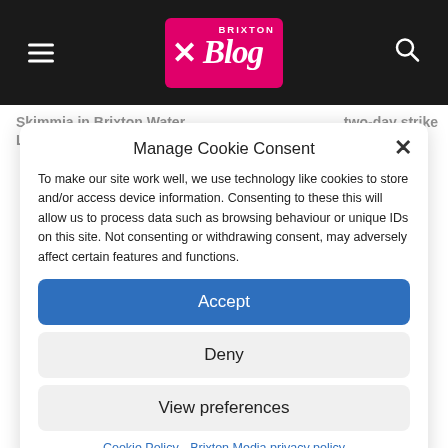Brixton Blog — site header with hamburger menu, logo, and search icon
Skimmia in Brixton Water Lane
two-day strike
Manage Cookie Consent
To make our site work well, we use technology like cookies to store and/or access device information. Consenting to these this will allow us to process data such as browsing behaviour or unique IDs on this site. Not consenting or withdrawing consent, may adversely affect certain features and functions.
Accept
Deny
View preferences
Cookie Policy   Brixton Media privacy policy